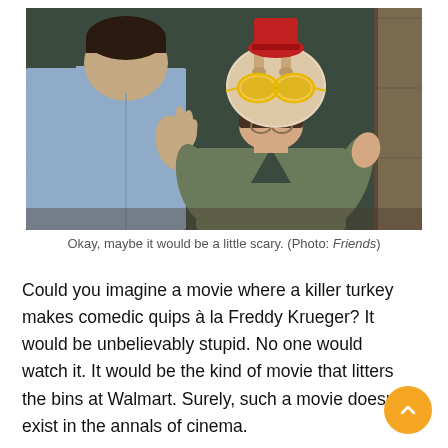[Figure (photo): A scene from the TV show Friends: a woman with a raw turkey on her head wearing large yellow sunglasses and a red hat, facing a man in a blue shirt with his back to the camera, his hands raised.]
Okay, maybe it would be a little scary. (Photo: Friends)
Could you imagine a movie where a killer turkey makes comedic quips à la Freddy Krueger? It would be unbelievably stupid. No one would watch it. It would be the kind of movie that litters the bins at Walmart. Surely, such a movie doesn't exist in the annals of cinema.